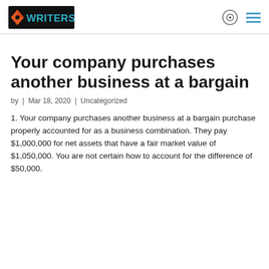[Figure (logo): Writers logo with orange/red pen nib icon and teal WRITERS text on black background]
Your company purchases another business at a bargain
by | Mar 18, 2020 | Uncategorized
1. Your company purchases another business at a bargain purchase properly accounted for as a business combination. They pay $1,000,000 for net assets that have a fair market value of $1,050,000. You are not certain how to account for the difference of $50,000.